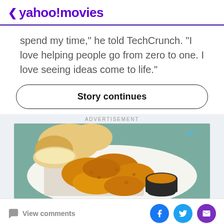< yahoo!movies
spend my time,” he told TechCrunch. “I love helping people go from zero to one. I love seeing ideas come to life.”
Story continues
ADVERTISEMENT
[Figure (photo): Advertisement showing a plate of fried chicken pieces with dipping sauce and bread rolls in the background]
View comments